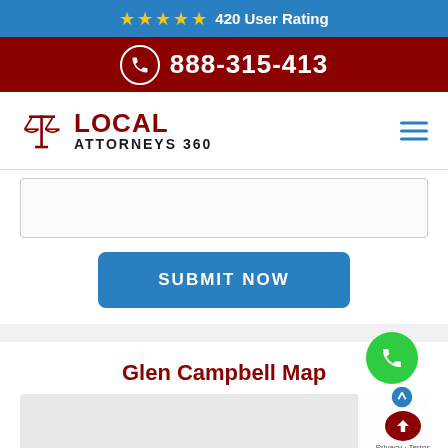★★★★★ 420 User Rating
888-315-413
[Figure (logo): Local Attorneys 360 logo with scales of justice icon]
[Figure (screenshot): Text area input field (form)]
[Figure (screenshot): SUBMIT NOW button in blue]
Glen Campbell Map
[Figure (screenshot): Floating green phone call button overlay]
[Figure (screenshot): Back to top red button with Privacy and Terms text]